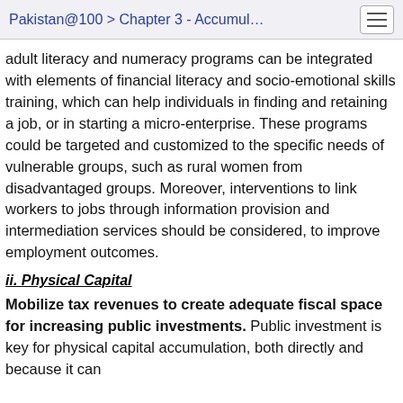Pakistan@100 > Chapter 3 - Accumul…
adult literacy and numeracy programs can be integrated with elements of financial literacy and socio-emotional skills training, which can help individuals in finding and retaining a job, or in starting a micro-enterprise. These programs could be targeted and customized to the specific needs of vulnerable groups, such as rural women from disadvantaged groups. Moreover, interventions to link workers to jobs through information provision and intermediation services should be considered, to improve employment outcomes.
ii. Physical Capital
Mobilize tax revenues to create adequate fiscal space for increasing public investments. Public investment is key for physical capital accumulation, both directly and because it can